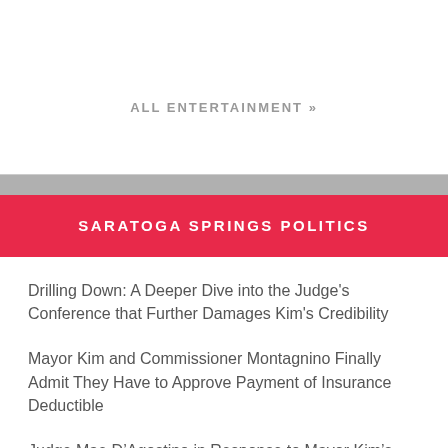ALL ENTERTAINMENT »
SARATOGA SPRINGS POLITICS
Drilling Down: A Deeper Dive into the Judge's Conference that Further Damages Kim's Credibility
Mayor Kim and Commissioner Montagnino Finally Admit They Have to Approve Payment of Insurance Deductible
Judge Mae D'Agostino in Response to Mayor Kim's Letter to Her Regarding the Tim Wales Settlement: “What’s This All About?”